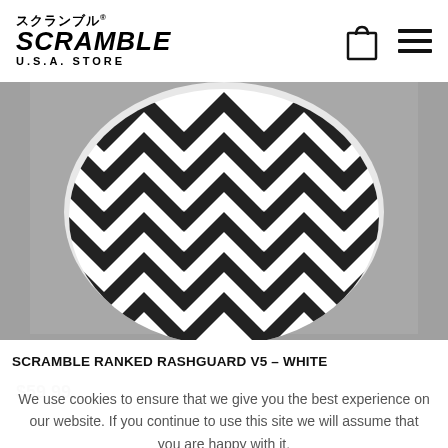Scramble U.S.A. Store
[Figure (photo): Product photo of Scramble Ranked Rashguard V5 in white with black and white chevron/zigzag pattern, shown on a gray background. Only the torso/midsection of the garment is visible.]
SCRAMBLE RANKED RASHGUARD V5 – WHITE
We use cookies to ensure that we give you the best experience on our website. If you continue to use this site we will assume that you are happy with it.
OK